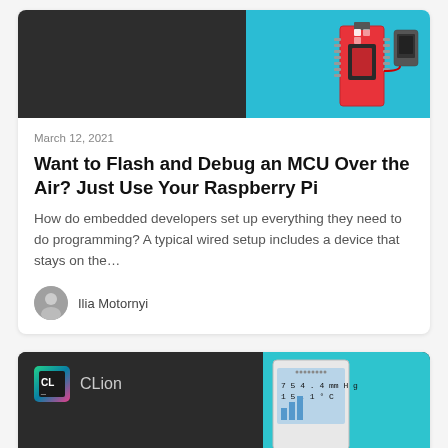[Figure (photo): Article card with dark left half and teal/blue right half showing a microcontroller/MCU hardware board]
March 12, 2021
Want to Flash and Debug an MCU Over the Air? Just Use Your Raspberry Pi
How do embedded developers set up everything they need to do programming? A typical wired setup includes a device that stays on the…
Ilia Motornyi
[Figure (photo): Second article card with dark background, CLion logo/branding on left and teal sidebar with a display showing 754.4 mmHg and 15.1°C on right. Title: Arduino Development With CLion: From Hobby...]